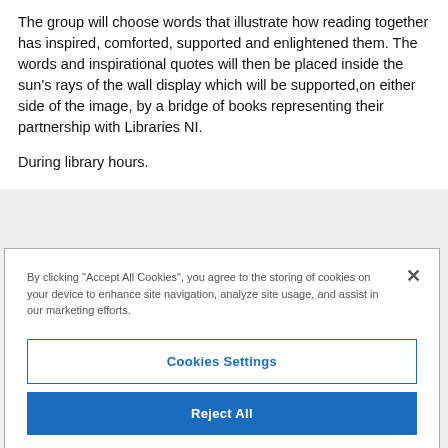The group will choose words that illustrate how reading together has inspired, comforted, supported and enlightened them. The words and inspirational quotes will then be placed inside the sun's rays of the wall display which will be supported,on either side of the image, by a bridge of books representing their partnership with Libraries NI.
During library hours.
By clicking "Accept All Cookies", you agree to the storing of cookies on your device to enhance site navigation, analyze site usage, and assist in our marketing efforts.
Cookies Settings
Reject All